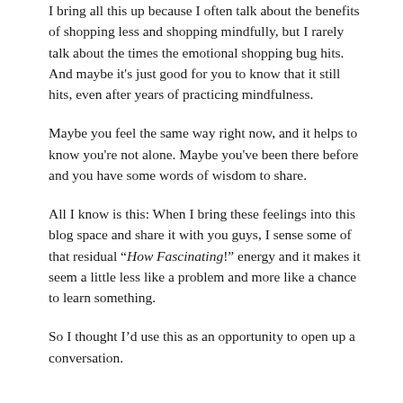I bring all this up because I often talk about the benefits of shopping less and shopping mindfully, but I rarely talk about the times the emotional shopping bug hits. And maybe it's just good for you to know that it still hits, even after years of practicing mindfulness.
Maybe you feel the same way right now, and it helps to know you're not alone. Maybe you've been there before and you have some words of wisdom to share.
All I know is this: When I bring these feelings into this blog space and share it with you guys, I sense some of that residual “How Fascinating!” energy and it makes it seem a little less like a problem and more like a chance to learn something.
So I thought I'd use this as an opportunity to open up a conversation.